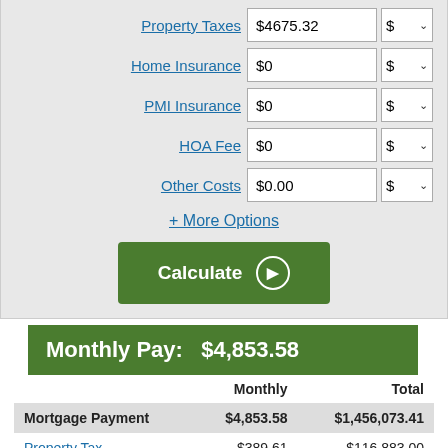Property Taxes — $4675.32 — $ dropdown
Home Insurance — $0 — $ dropdown
PMI Insurance — $0 — $ dropdown
HOA Fee — $0 — $ dropdown
Other Costs — $0.00 — $ dropdown
+ More Options
Calculate
Monthly Pay:   $4,853.58
|  | Monthly | Total |
| --- | --- | --- |
| Mortgage Payment | $4,853.58 | $1,456,073.41 |
| Property Tax | $389.61 | $116,883.00 |
| Total Out-of-Pocket | $5,243.19 | $1,573,956.41 |